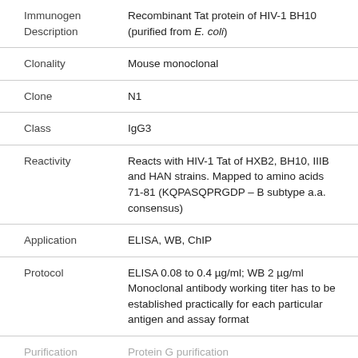| Field | Value |
| --- | --- |
| Immunogen
Description | Recombinant Tat protein of HIV-1 BH10
(purified from E. coli) |
| Clonality | Mouse monoclonal |
| Clone | N1 |
| Class | IgG3 |
| Reactivity | Reacts with HIV-1 Tat of HXB2, BH10, IIIB and HAN strains. Mapped to amino acids 71-81 (KQPASQPRGDP – B subtype a.a. consensus) |
| Application | ELISA, WB, ChIP |
| Protocol | ELISA 0.08 to 0.4 µg/ml; WB 2 µg/ml
Monoclonal antibody working titer has to be established practically for each particular antigen and assay format |
| Purification | Protein G purification |